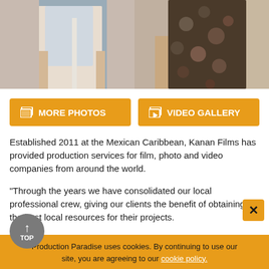[Figure (photo): Two people photographed outdoors, partial view showing bodies from neck to waist. Left person wearing white tank top, right person wearing patterned dark clothing. Outdoor background visible.]
[Figure (screenshot): Two orange buttons: 'MORE PHOTOS' with photo icon and 'VIDEO GALLERY' with video icon]
Established 2011 at the Mexican Caribbean, Kanan Films has provided production services for film, photo and video companies from around the world.
"Through the years we have consolidated our local professional crew, giving our clients the benefit of obtaining the best local resources for their projects.
One of the biggest motivation for our company is to present the greatness of our Mexican heritage and culture to the world through locations, history, people and textures.
The art of making things happen is what defines our service, visio
Production Paradise uses cookies. By continuing to use our site, you are agreeing to our cookie policy.